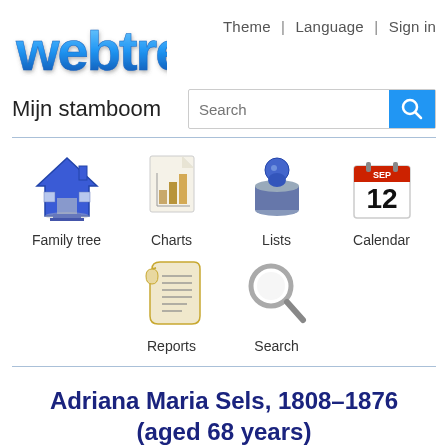[Figure (logo): webtrees logo with blue 3D bubble text]
Theme | Language | Sign in
Mijn stamboom
[Figure (other): Search input box with blue search button]
[Figure (infographic): Navigation icons: Family tree (house), Charts (document with bar chart), Lists (person with magnifier), Calendar (Sep 12 calendar), Reports (scroll), Search (magnifier)]
Adriana Maria Sels, 1808–1876 (aged 68 years)